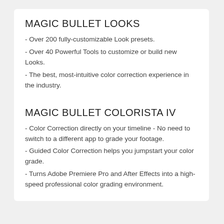MAGIC BULLET LOOKS
- Over 200 fully-customizable Look presets.
- Over 40 Powerful Tools to customize or build new Looks.
- The best, most-intuitive color correction experience in the industry.
MAGIC BULLET COLORISTA IV
- Color Correction directly on your timeline - No need to switch to a different app to grade your footage.
- Guided Color Correction helps you jumpstart your color grade.
- Turns Adobe Premiere Pro and After Effects into a high-speed professional color grading environment.